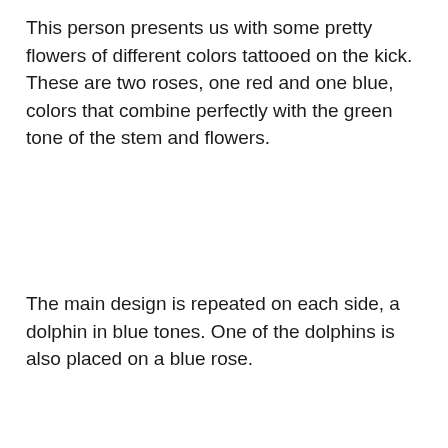This person presents us with some pretty flowers of different colors tattooed on the kick. These are two roses, one red and one blue, colors that combine perfectly with the green tone of the stem and flowers.
The main design is repeated on each side, a dolphin in blue tones. One of the dolphins is also placed on a blue rose.